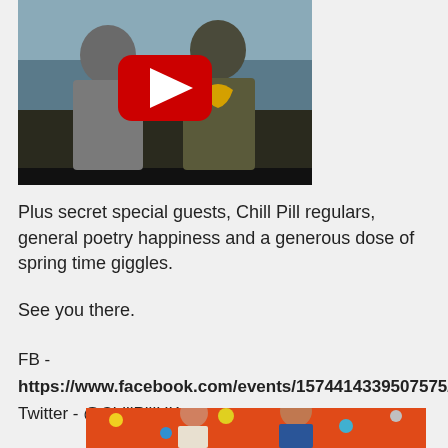[Figure (photo): YouTube thumbnail showing two men outdoors, one in a grey hoodie with sunglasses and beanie hat, one in a Wu-Tang Clan shirt. Large red YouTube play button overlay in center.]
Plus secret special guests, Chill Pill regulars, general poetry happiness and a generous dose of spring time giggles.
See you there.
FB - https://www.facebook.com/events/1574414339507575/
Twitter - @ChillPillUK
[Figure (photo): Two young men posed against an orange wall with colourful climbing holds. One wears a teal cap and striped shirt, the other a blue t-shirt with graphic print.]